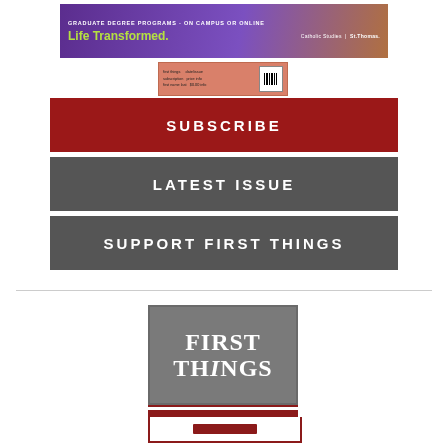[Figure (infographic): University of St. Thomas advertisement banner - Graduate Degree Programs On Campus or Online, Life Transformed, Catholic Studies]
[Figure (illustration): Small magazine cover thumbnail with barcode]
SUBSCRIBE
LATEST ISSUE
SUPPORT FIRST THINGS
[Figure (logo): First Things magazine logo on gray background with red decorative stripes below]